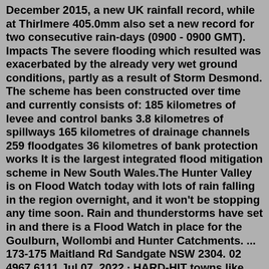December 2015, a new UK rainfall record, while at Thirlmere 405.0mm also set a new record for two consecutive rain-days (0900 - 0900 GMT). Impacts The severe flooding which resulted was exacerbated by the already very wet ground conditions, partly as a result of Storm Desmond. The scheme has been constructed over time and currently consists of: 185 kilometres of levee and control banks 3.8 kilometres of spillways 165 kilometres of drainage channels 259 floodgates 36 kilometres of bank protection works It is the largest integrated flood mitigation scheme in New South Wales.The Hunter Valley is on Flood Watch today with lots of rain falling in the region overnight, and it won't be stopping any time soon. Rain and thunderstorms have set in and there is a Flood Watch in place for the Goulburn, Wollombi and Hunter Catchments. ... 173-175 Maitland Rd Sandgate NSW 2304. 02 4967 6111.Jul 07, 2022 · HARD-HIT towns like Singleton, Maitland and Lake Macquarie will now be eligible for flood assistance payments as the federal government widens its net to